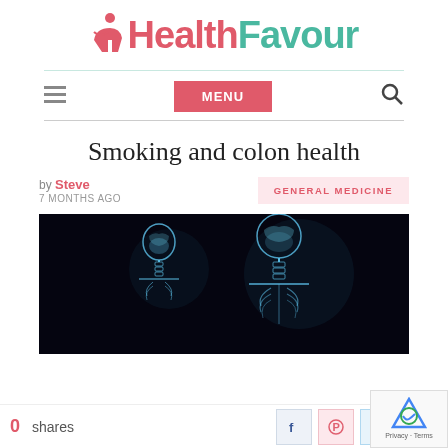[Figure (logo): HealthFavour logo with person icon and red/teal text]
MENU navigation bar with hamburger icon and search icon
Smoking and colon health
by Steve
7 MONTHS AGO
GENERAL MEDICINE
[Figure (photo): X-ray style skeletal figures on dark background, two humanoid skeletons facing each other]
0 shares
Social share icons: Facebook, Pinterest, Twitter, LinkedIn